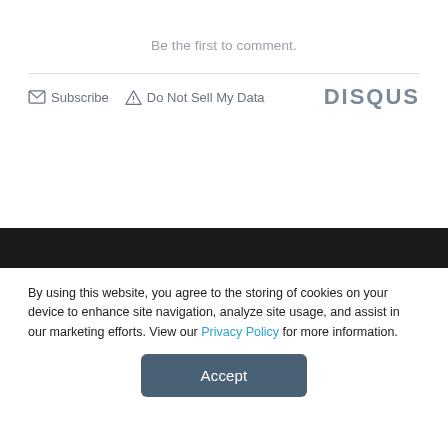Be the first to comment.
Subscribe   Do Not Sell My Data   DISQUS
By using this website, you agree to the storing of cookies on your device to enhance site navigation, analyze site usage, and assist in our marketing efforts. View our Privacy Policy for more information.
Accept